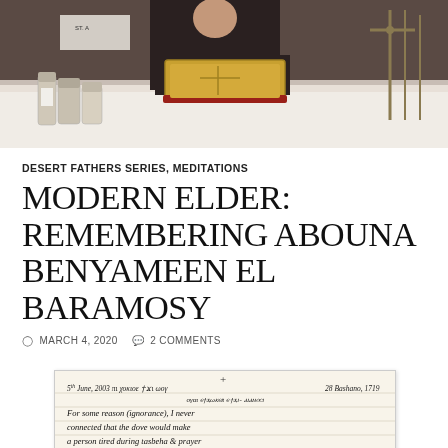[Figure (photo): A photograph showing a person in dark clothing holding or presenting a decorative golden/red book or reliquary, with bottles and items on a white-cloth-covered table in the background, church setting with iron grillwork visible]
DESERT FATHERS SERIES, MEDITATIONS
MODERN ELDER: REMEMBERING ABOUNA BENYAMEEN EL BARAMOSY
MARCH 4, 2020   2 COMMENTS
[Figure (photo): A handwritten journal page or notebook entry dated 5th June, 2003 with text in Coptic and English. The English text reads: 'For some reason (ignorance), I never connected that the dove would make a person tired during tasbeha & prayer & that it wasn't just pure physical. Abouna said that yesterday & that']